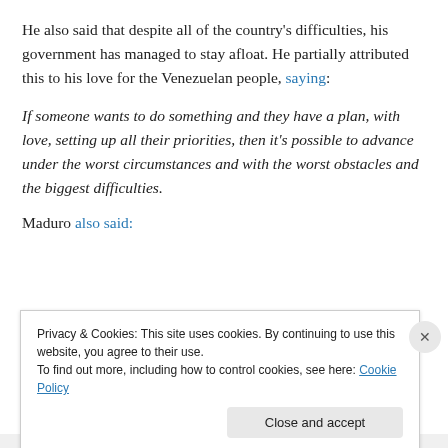He also said that despite all of the country's difficulties, his government has managed to stay afloat. He partially attributed this to his love for the Venezuelan people, saying:
If someone wants to do something and they have a plan, with love, setting up all their priorities, then it's possible to advance under the worst circumstances and with the worst obstacles and the biggest difficulties.
Maduro also said:
Privacy & Cookies: This site uses cookies. By continuing to use this website, you agree to their use. To find out more, including how to control cookies, see here: Cookie Policy. Close and accept.